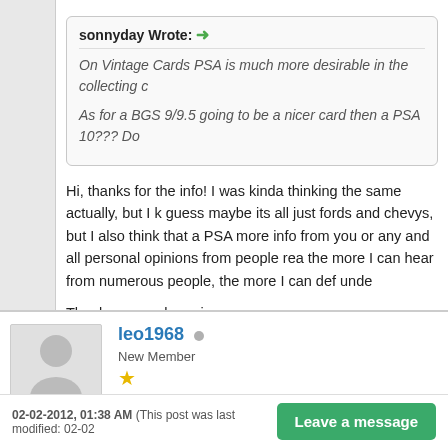sonnyday Wrote: →
On Vintage Cards PSA is much more desirable in the collecting c...
As for a BGS 9/9.5 going to be a nicer card then a PSA 10??? Do...
Hi, thanks for the info! I was kinda thinking the same actually, but I... guess maybe its all just fords and chevys, but I also think that a PS... more info from you or any and all personal opinions from people rea... the more I can hear from numerous people, the more I can def und...
Thanks so much again,
Ed
Find
leo1968
New Member
★
02-02-2012, 01:38 AM (This post was last modified: 02-02...
Leave a message